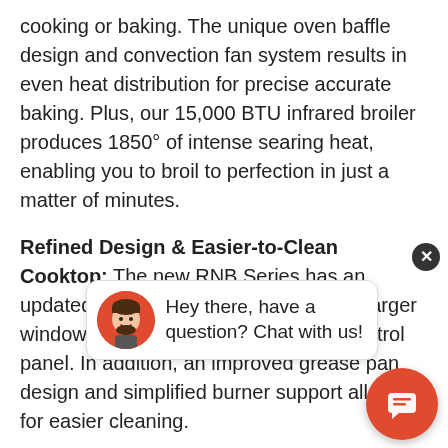cooking or baking. The unique oven baffle design and convection fan system results in even heat distribution for precise accurate baking. Plus, our 15,000 BTU infrared broiler produces 1850° of intense searing heat, enabling you to broil to perfection in just a matter of minutes.
Refined Design & Easier-to-Clean Cooktop: The new RNB Series has an updated sleeker design that features a larger window for viewing plus a one piece control panel. In addition, an improved grease pan design and simplified burner support allows for easier cleaning.
Fully Customizable: be customized to su style. Add a splash o of BlueStar's 1,000+ different colors and finish add a touch of color with colored knobs on a range. Further customize with metal trim finis optional swing doors, and different backguard height. The options are all...
[Figure (screenshot): Chat widget overlay showing a close button (dark circle with X), a chat bubble with avatar (red circle with cartoon face) and text 'Hey there, have a question? Chat with us!', and a red circular chat launcher button with a message icon.]